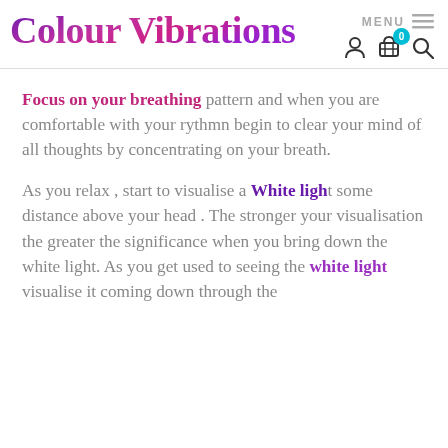Colour Vibrations — MENU / navigation header with cart icon
Focus on your breathing pattern and when you are comfortable with your rythmn begin to clear your mind of all thoughts by concentrating on your breath.
As you relax , start to visualise a White light some distance above your head . The stronger your visualisation the greater the significance when you bring down the white light. As you get used to seeing the white light visualise it coming down through the